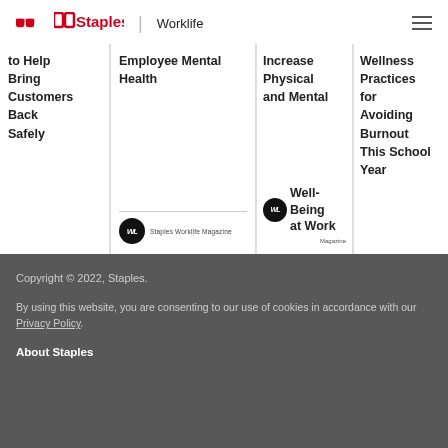Staples | Worklife
[Figure (screenshot): Horizontal scrollable card list showing article thumbnails with titles: 'to Help Bring Customers Back Safely', 'Employee Mental Health', 'Increase Physical and Mental Well-Being at Work', 'Wellness Practices for Avoiding Burnout This School Year', 'Programs at Work'. Cards include Staples Worklife Magazine logos.]
Copyright © 2022, Staples.

By using this website, you are consenting to our use of cookies in accordance with our Privacy Policy.

About Staples